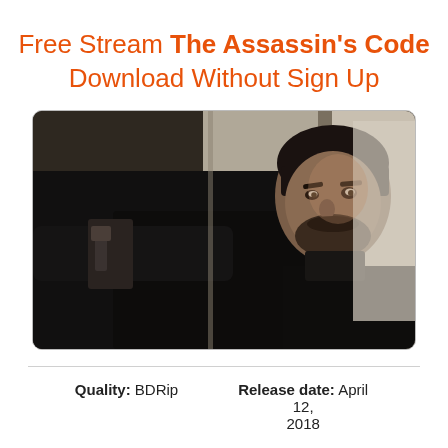Free Stream The Assassin's Code Download Without Sign Up
[Figure (photo): Movie still from The Assassin's Code showing a man in black clothing aiming a gun toward the left side of the frame, with a blurred indoor background]
Quality: BDRip    Release date: April 12, 2018